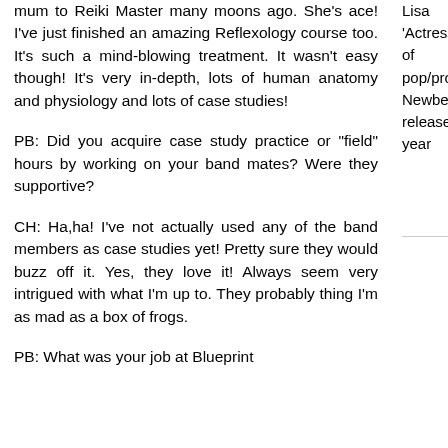mum to Reiki Master many moons ago. She's ace! I've just finished an amazing Reflexology course too. It's such a mind-blowing treatment. It wasn't easy though! It's very in-depth, lots of human anatomy and physiology and lots of case studies!
PB: Did you acquire case study practice or "field" hours by working on your band mates? Were they supportive?
CH: Ha,ha! I've not actually used any of the band members as case studies yet! Pretty sure they would buzz off it. Yes, they love it! Always seem very intrigued with what I'm up to. They probably thing I'm as mad as a box of frogs.
PB: What was your job at Blueprint
Lisa Torem examines 'Actress', the debut album of Chicago-based pop/prog act, Lobster Newberg, which was released at the start of the year
digital downloads